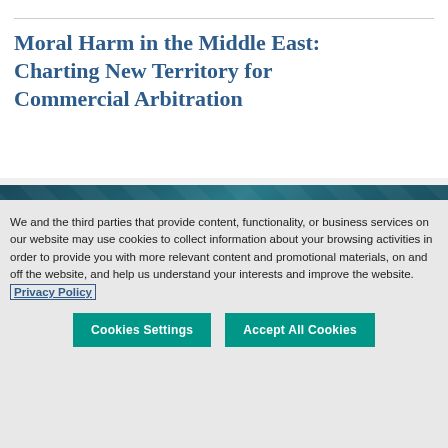Moral Harm in the Middle East: Charting New Territory for Commercial Arbitration
[Figure (illustration): Dark teal geometric patterned banner background]
We and the third parties that provide content, functionality, or business services on our website may use cookies to collect information about your browsing activities in order to provide you with more relevant content and promotional materials, on and off the website, and help us understand your interests and improve the website. Privacy Policy
Cookies Settings
Accept All Cookies